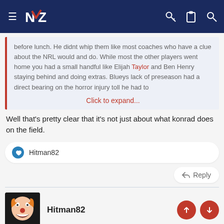NZ Warriors forum navigation bar
before lunch. He didnt whip them like most coaches who have a clue about the NRL would and do. While most the other players went home you had a small handful like Elijah Taylor and Ben Henry staying behind and doing extras. Blueys lack of preseason had a direct bearing on the horror injury toll he had to
Click to expand...
Well that's pretty clear that it's not just about what konrad does on the field.
Hitman82
Reply
Hitman82
Apr 27, 2014